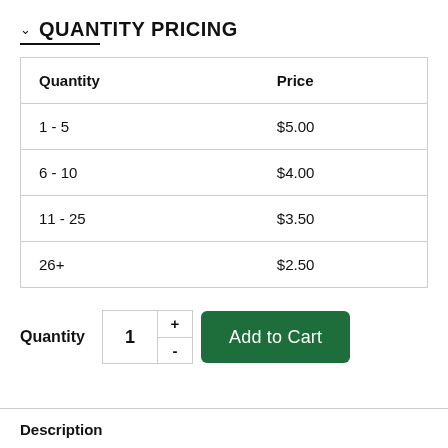QUANTITY PRICING
| Quantity | Price |
| --- | --- |
| 1 - 5 | $5.00 |
| 6 - 10 | $4.00 |
| 11 - 25 | $3.50 |
| 26+ | $2.50 |
Quantity  1  +  -  Add to Cart
Description